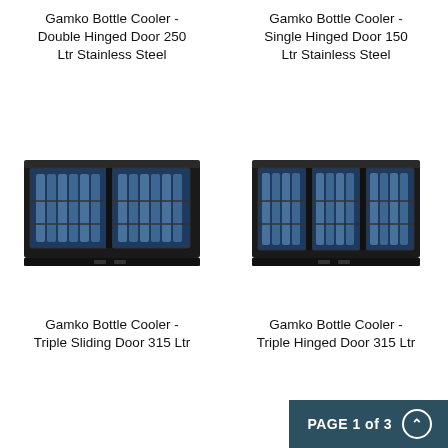Gamko Bottle Cooler - Double Hinged Door 250 Ltr Stainless Steel
Gamko Bottle Cooler - Single Hinged Door 150 Ltr Stainless Steel
[Figure (photo): Gamko bottle cooler with triple sliding doors, black exterior, bottles visible through blue-tinted glass doors]
[Figure (photo): Gamko bottle cooler with triple hinged doors, black exterior, bottles visible through blue-tinted glass doors]
Gamko Bottle Cooler - Triple Sliding Door 315 Ltr
Gamko Bottle Cooler - Triple Hinged Door 315 Ltr
PAGE 1 of 3